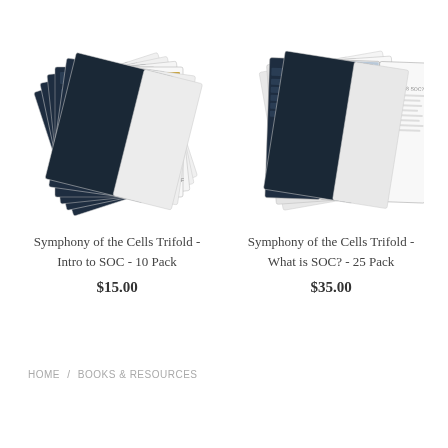[Figure (photo): Stack of Symphony of the Cells Trifold brochures - Intro to SOC edition, fanned out showing dark navy and white design]
Symphony of the Cells Trifold - Intro to SOC - 10 Pack
$15.00
[Figure (photo): Stack of Symphony of the Cells Trifold brochures - What is SOC? edition, showing trifold layout with image and text panels]
Symphony of the Cells Trifold - What is SOC? - 25 Pack
$35.00
HOME / BOOKS & RESOURCES